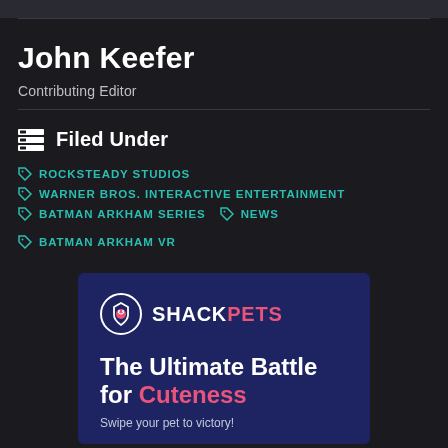John Keefer
Contributing Editor
Filed Under
ROCKSTEADY STUDIOS
WARNER BROS. INTERACTIVE ENTERTAINMENT
BATMAN ARKHAM SERIES   NEWS   BATMAN ARKHAM VR
[Figure (infographic): ShackPets advertisement with logo, headline 'The Ultimate Battle for Cuteness', and subtext 'Swipe your pet to victory!']